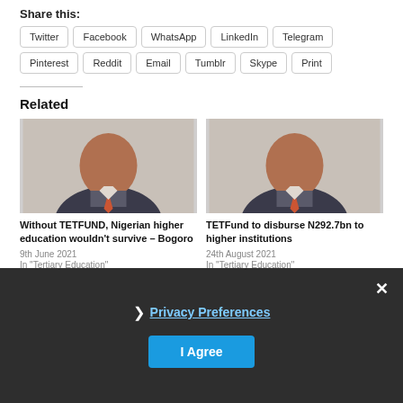Share this:
Twitter
Facebook
WhatsApp
LinkedIn
Telegram
Pinterest
Reddit
Email
Tumblr
Skype
Print
Related
[Figure (photo): Portrait photo of a man in a dark suit with orange tie]
Without TETFUND, Nigerian higher education wouldn't survive – Bogoro
9th June 2021
In "Tertiary Education"
[Figure (photo): Portrait photo of a man in a dark suit with orange tie]
TETFund to disburse N292.7bn to higher institutions
24th August 2021
In "Tertiary Education"
Privacy Preferences
I Agree